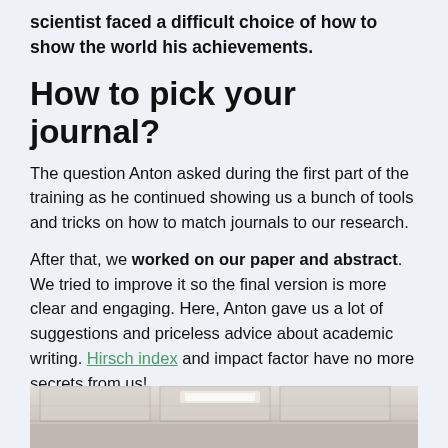scientist faced a difficult choice of how to show the world his achievements.
How to pick your journal?
The question Anton asked during the first part of the training as he continued showing us a bunch of tools and tricks on how to match journals to our research.
After that, we worked on our paper and abstract. We tried to improve it so the final version is more clear and engaging. Here, Anton gave us a lot of suggestions and priceless advice about academic writing. Hirsch index and impact factor have no more secrets from us!
[Figure (photo): Interior photo of a room with a tiled ceiling, partially visible at the bottom of the page]